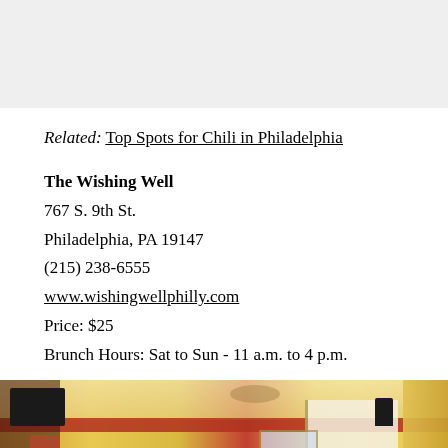Related: Top Spots for Chili in Philadelphia
The Wishing Well
767 S. 9th St.
Philadelphia, PA 19147
(215) 238-6555
www.wishingwellphilly.com
Price: $25
Brunch Hours: Sat to Sun - 11 a.m. to 4 p.m.
[Figure (photo): Interior photo of The Wishing Well restaurant showing dining room with red accent stripe, ceiling fan, artwork on walls, and bright door.]